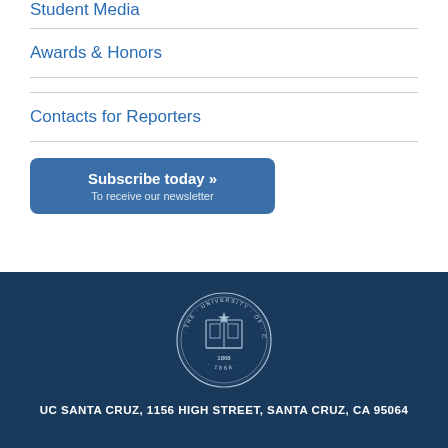Student Media
Awards & Honors
Contacts for Reporters
[Figure (other): Subscribe today button - blue rounded rectangle with text 'Subscribe today »' and 'To receive our newsletter']
[Figure (logo): University of California seal logo in white on dark blue background]
UC SANTA CRUZ, 1156 HIGH STREET, SANTA CRUZ, CA 95064